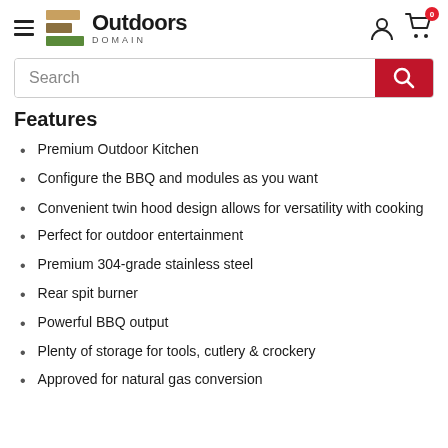Outdoors Domain
Features
Premium Outdoor Kitchen
Configure the BBQ and modules as you want
Convenient twin hood design allows for versatility with cooking
Perfect for outdoor entertainment
Premium 304-grade stainless steel
Rear spit burner
Powerful BBQ output
Plenty of storage for tools, cutlery & crockery
Approved for natural gas conversion